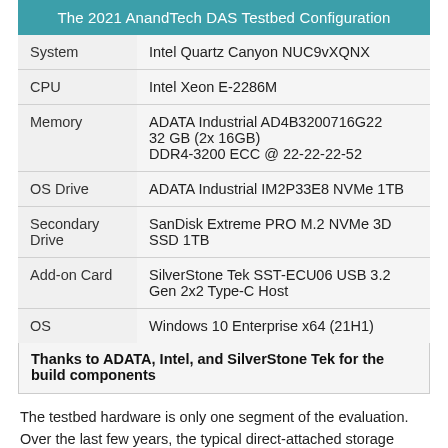| The 2021 AnandTech DAS Testbed Configuration |
| --- |
| System | Intel Quartz Canyon NUC9vXQNX |
| CPU | Intel Xeon E-2286M |
| Memory | ADATA Industrial AD4B3200716G22
32 GB (2x 16GB)
DDR4-3200 ECC @ 22-22-22-52 |
| OS Drive | ADATA Industrial IM2P33E8 NVMe 1TB |
| Secondary Drive | SanDisk Extreme PRO M.2 NVMe 3D SSD 1TB |
| Add-on Card | SilverStone Tek SST-ECU06 USB 3.2 Gen 2x2 Type-C Host |
| OS | Windows 10 Enterprise x64 (21H1) |
Thanks to ADATA, Intel, and SilverStone Tek for the build components
The testbed hardware is only one segment of the evaluation. Over the last few years, the typical direct-attached storage workloads for memory cards have also evolved. High bit-rate 4K videos at 60fps have become quite common, and 8K videos are starting to make